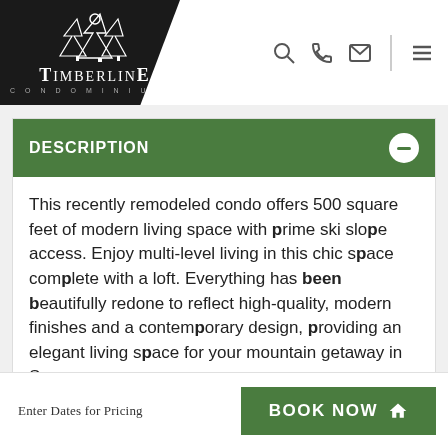Timberline Condominiums
DESCRIPTION
This recently remodeled condo offers 500 square feet of modern living space with prime ski slope access. Enjoy multi-level living in this chic space complete with a loft. Everything has been beautifully redone to reflect high-quality, modern finishes and a contemporary design, providing an elegant living space for your mountain getaway in Snowmass.
Enter Dates for Pricing  BOOK NOW